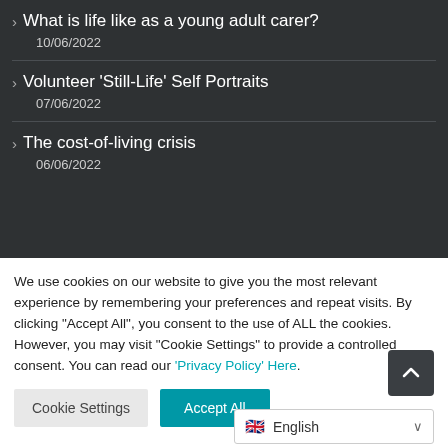> What is life like as a young adult carer? 10/06/2022
> Volunteer 'Still-Life' Self Portraits 07/06/2022
> The cost-of-living crisis 06/06/2022
We use cookies on our website to give you the most relevant experience by remembering your preferences and repeat visits. By clicking "Accept All", you consent to the use of ALL the cookies. However, you may visit "Cookie Settings" to provide a controlled consent. You can read our 'Privacy Policy' Here.